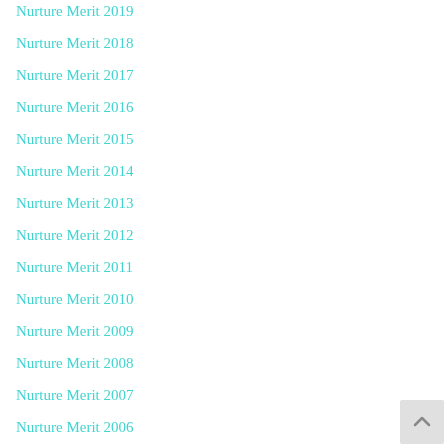Nurture Merit 2019
Nurture Merit 2018
Nurture Merit 2017
Nurture Merit 2016
Nurture Merit 2015
Nurture Merit 2014
Nurture Merit 2013
Nurture Merit 2012
Nurture Merit 2011
Nurture Merit 2010
Nurture Merit 2009
Nurture Merit 2008
Nurture Merit 2007
Nurture Merit 2006